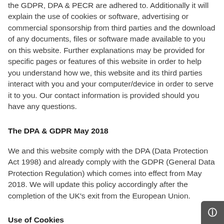the GDPR, DPA & PECR are adhered to. Additionally it will explain the use of cookies or software, advertising or commercial sponsorship from third parties and the download of any documents, files or software made available to you on this website. Further explanations may be provided for specific pages or features of this website in order to help you understand how we, this website and its third parties interact with you and your computer/device in order to serve it to you. Our contact information is provided should you have any questions.
The DPA & GDPR May 2018
We and this website comply with the DPA (Data Protection Act 1998) and already comply with the GDPR (General Data Protection Regulation) which comes into effect from May 2018. We will update this policy accordingly after the completion of the UK's exit from the European Union.
Use of Cookies
This website uses cookies to better the users experience while visiting the website. As required by legislation, wh applicable this website uses a cookie control system,